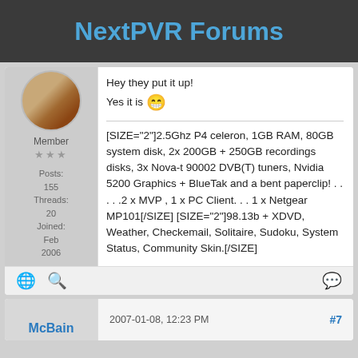NextPVR Forums
Hey they put it up!
Yes it is 😁
[SIZE="2"]2.5Ghz P4 celeron, 1GB RAM, 80GB system disk, 2x 200GB + 250GB recordings disks, 3x Nova-t 90002 DVB(T) tuners, Nvidia 5200 Graphics + BlueTak and a bent paperclip! . . . . .2 x MVP , 1 x PC Client. . . 1 x Netgear MP101[/SIZE] [SIZE="2"]98.13b + XDVD, Weather, Checkemail, Solitaire, Sudoku, System Status, Community Skin.[/SIZE]
Member
Posts: 155
Threads: 20
Joined: Feb 2006
McBain  2007-01-08, 12:23 PM  #7